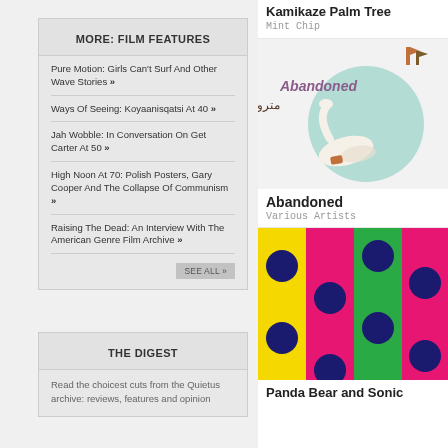MORE: FILM FEATURES
Pure Motion: Girls Can't Surf And Other Wave Stories »
Ways Of Seeing: Koyaanisqatsi At 40 »
Jah Wobble: In Conversation On Get Carter At 50 »
High Noon At 70: Polish Posters, Gary Cooper And The Collapse Of Communism »
Raising The Dead: An Interview With The American Genre Film Archive »
SEE ALL »
THE DIGEST
Read the choicest cuts from the Quietus archive: reviews, features and opinion
Kamikaze Palm Tree
Mint Chip
[Figure (illustration): Album art for 'Abandoned' - shows text 'Abandoned' and Arabic/Persian script on a light blue circle background with illustrated birds/swans]
Abandoned
Various Artists
[Figure (photo): Colorful polka dot pattern - vertical striped columns in yellow, pink/magenta, green, and pink/magenta with large dark navy blue circles on each]
Panda Bear and Sonic